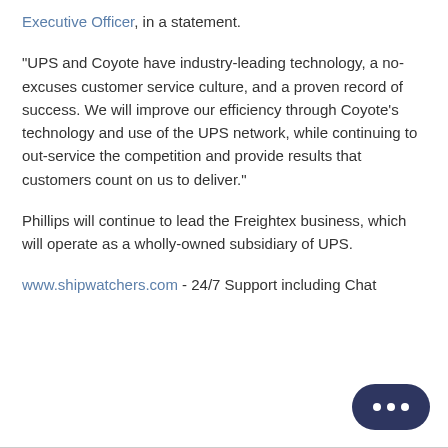Executive Officer, in a statement.
“UPS and Coyote have industry-leading technology, a no-excuses customer service culture, and a proven record of success. We will improve our efficiency through Coyote’s technology and use of the UPS network, while continuing to out-service the competition and provide results that customers count on us to deliver.”
Phillips will continue to lead the Freightex business, which will operate as a wholly-owned subsidiary of UPS.
www.shipwatchers.com - 24/7 Support including Chat
[Figure (other): Dark navy rounded pill-shaped chat bubble button with three white dots]